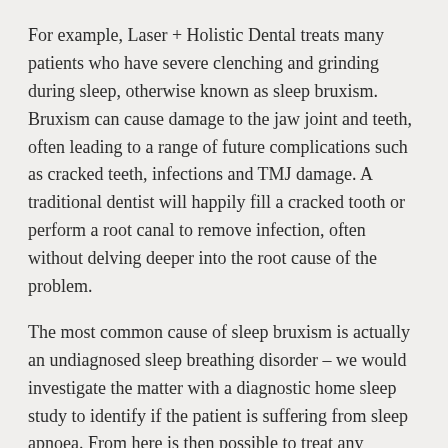For example, Laser + Holistic Dental treats many patients who have severe clenching and grinding during sleep, otherwise known as sleep bruxism. Bruxism can cause damage to the jaw joint and teeth, often leading to a range of future complications such as cracked teeth, infections and TMJ damage. A traditional dentist will happily fill a cracked tooth or perform a root canal to remove infection, often without delving deeper into the root cause of the problem.
The most common cause of sleep bruxism is actually an undiagnosed sleep breathing disorder – we would investigate the matter with a diagnostic home sleep study to identify if the patient is suffering from sleep apnoea. From here is then possible to treat any underlying disorder with splints or potentially laser.
Our holistic view on dentistry allows us to look at the big picture and identify how dental related symptoms may be relating to your overall health and well being. At Laser + Holistic we take a strong position on many health related and environmental controversies that are part of the dental industry – to learn more about this we recommend that you read through our philosophy pages.